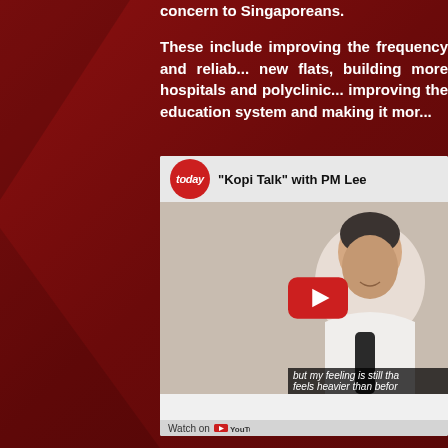concern to Singaporeans.
These include improving the frequency and reliability of new flats, building more hospitals and polyclinics, improving the education system and making it mor...
[Figure (screenshot): YouTube video thumbnail showing 'Kopi Talk' with PM Lee. The TODAY news logo (red circle with 'today' text) appears in the header. A man in white shirt holding a microphone is seated. A YouTube play button overlay is shown. Subtitle text reads 'but my feeling is still tha' and 'feels heavier than befor'. Footer shows 'Watch on YouTube'.]